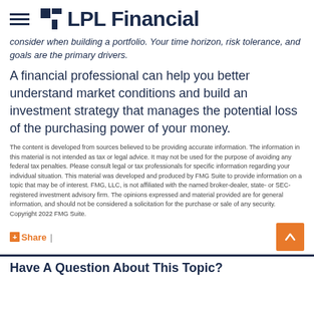LPL Financial
consider when building a portfolio. Your time horizon, risk tolerance, and goals are the primary drivers.
A financial professional can help you better understand market conditions and build an investment strategy that manages the potential loss of the purchasing power of your money.
The content is developed from sources believed to be providing accurate information. The information in this material is not intended as tax or legal advice. It may not be used for the purpose of avoiding any federal tax penalties. Please consult legal or tax professionals for specific information regarding your individual situation. This material was developed and produced by FMG Suite to provide information on a topic that may be of interest. FMG, LLC, is not affiliated with the named broker-dealer, state- or SEC-registered investment advisory firm. The opinions expressed and material provided are for general information, and should not be considered a solicitation for the purchase or sale of any security. Copyright 2022 FMG Suite.
Share |
Have A Question About This Topic?